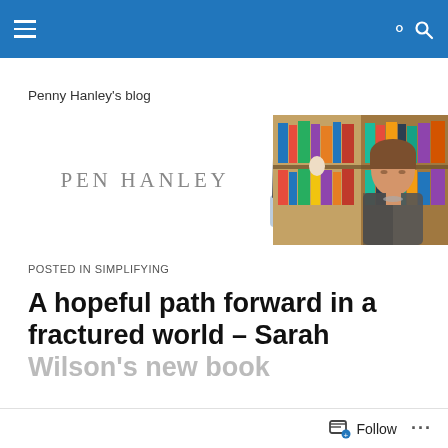Navigation bar with hamburger menu and search icon
Penny Hanley's blog
[Figure (logo): Pen Hanley logo with stylized text 'PEN HANLEY' and a cup of pens/pencils icon alongside a photo of a woman sitting in front of bookshelves]
POSTED IN SIMPLIFYING
A hopeful path forward in a fractured world – Sarah Wilson's new book
Follow ...